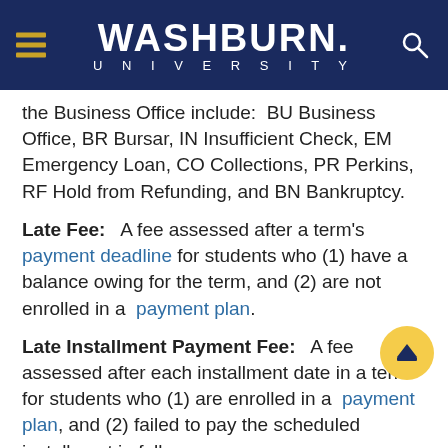Washburn University
the Business Office include:  BU Business Office, BR Bursar, IN Insufficient Check, EM Emergency Loan, CO Collections, PR Perkins, RF Hold from Refunding, and BN Bankruptcy.
Late Fee:   A fee assessed after a term's payment deadline for students who (1) have a balance owing for the term, and (2) are not enrolled in a  payment plan.
Late Installment Payment Fee:   A fee assessed after each installment date in a term for students who (1) are enrolled in a  payment plan, and (2) failed to pay the scheduled installment in full.
Payment Deadline:  The date and time a...